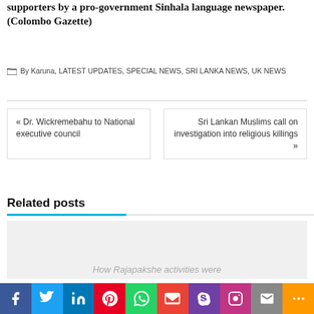supporters by a pro-government Sinhala language newspaper. (Colombo Gazette)
By Karuna, LATEST UPDATES, SPECIAL NEWS, SRI LANKA NEWS, UK NEWS
« Dr. Wickremebahu to National executive council
Sri Lankan Muslims call on investigation into religious killings »
Related posts
How Rajapakshe activities were
[Figure (screenshot): Social media share bar with Facebook, Twitter, LinkedIn, Pinterest, WhatsApp, Gmail, Skype, Instagram, Mail, and More buttons]